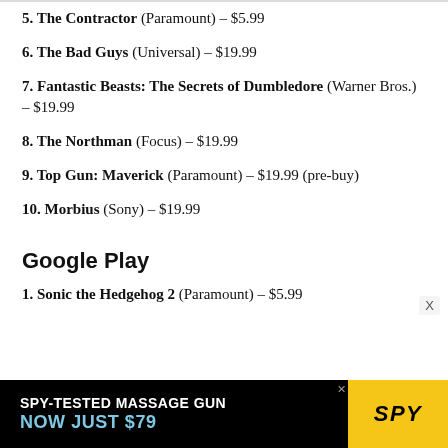5. The Contractor (Paramount) – $5.99
6. The Bad Guys (Universal) – $19.99
7. Fantastic Beasts: The Secrets of Dumbledore (Warner Bros.) – $19.99
8. The Northman (Focus) – $19.99
9. Top Gun: Maverick (Paramount) – $19.99 (pre-buy)
10. Morbius (Sony) – $19.99
Google Play
1. Sonic the Hedgehog 2 (Paramount) – $5.99
[Figure (other): Advertisement banner: SPY-TESTED MASSAGE GUN / NOW JUST $79 with SPY logo on yellow background]